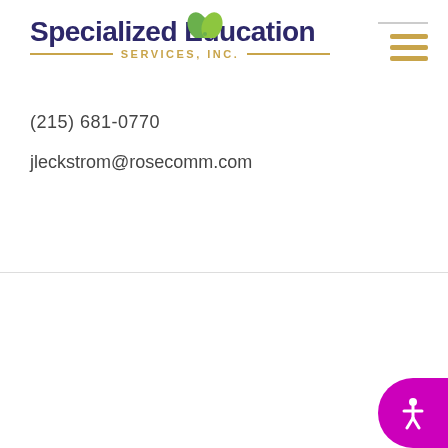[Figure (logo): Specialized Education Services, Inc. logo with green leaf icon, dark navy text and gold decorative lines]
(215) 681-0770
jleckstrom@rosecomm.com
SPECIALIZED EDUCATION SERVICES, INC.
150 Rouse Blvd., Suite 210 Philadelphia, PA 19112